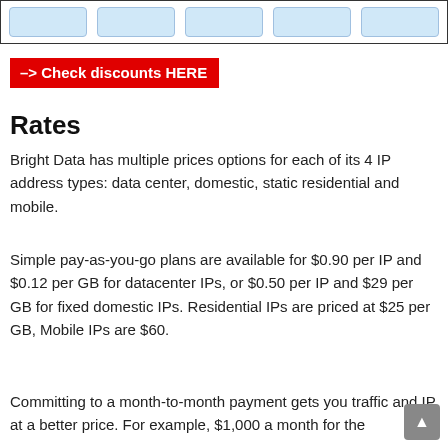[Figure (screenshot): Top strip with navigation tab buttons (partially visible, blue/light colored)]
-> Check discounts HERE
Rates
Bright Data has multiple prices options for each of its 4 IP address types: data center, domestic, static residential and mobile.
Simple pay-as-you-go plans are available for $0.90 per IP and $0.12 per GB for datacenter IPs, or $0.50 per IP and $29 per GB for fixed domestic IPs. Residential IPs are priced at $25 per GB, Mobile IPs are $60.
Committing to a month-to-month payment gets you traffic and IP at a better price. For example, $1,000 a month for the